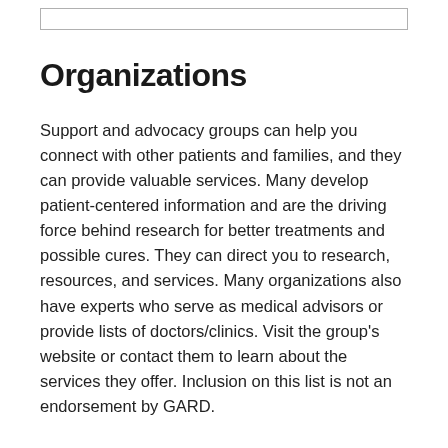Organizations
Support and advocacy groups can help you connect with other patients and families, and they can provide valuable services. Many develop patient-centered information and are the driving force behind research for better treatments and possible cures. They can direct you to research, resources, and services. Many organizations also have experts who serve as medical advisors or provide lists of doctors/clinics. Visit the group’s website or contact them to learn about the services they offer. Inclusion on this list is not an endorsement by GARD.